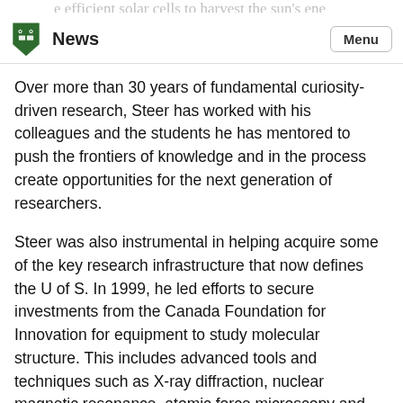News | Menu
Over more than 30 years of fundamental curiosity-driven research, Steer has worked with his colleagues and the students he has mentored to push the frontiers of knowledge and in the process create opportunities for the next generation of researchers.
Steer was also instrumental in helping acquire some of the key research infrastructure that now defines the U of S. In 1999, he led efforts to secure investments from the Canada Foundation for Innovation for equipment to study molecular structure. This includes advanced tools and techniques such as X-ray diffraction, nuclear magnetic resonance, atomic force microscopy and ultrafast laser technology. These tools opened up new research opportunities in chemistry, biochemistry and physics, with applications in nanotechnology, materials and surface science.